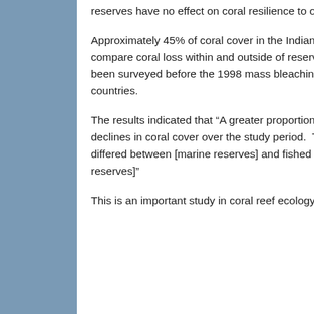reserves have no effect on coral resilience to ocean warming.
Approximately 45% of coral cover in the Indian Ocean was lost in 1998 due to temperature-related coral bleaching.  To compare coral loss within and outside of reserves, the team resurveyed 66 reefs in the Indian Ocean that had originally been surveyed before the 1998 mass bleaching event.  The surveyed sites included reefs within nine reserves in four countries.
The results indicated that “A greater proportion of [marine reserves] (71%) than fished (42%) locations showed significant declines in coral cover over the study period.  There was no evidence to suggest the percent change in coral cover differed between [marine reserves] and fished areas, and in some cases declines were significantly greater in [marine reserves]”
This is an important study in coral reef ecology.  As a believer in Macroecology and a long-time disciple of